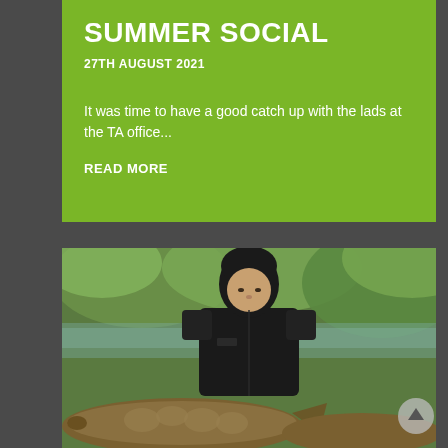SUMMER SOCIAL
27TH AUGUST 2021
It was time to have a good catch up with the lads at the TA office...
READ MORE
[Figure (photo): Young man holding a large carp fish, standing near water with green foliage in the background]